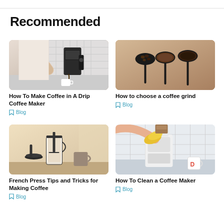Recommended
[Figure (photo): Person pouring coffee from a drip coffee maker into a cup in a kitchen]
How To Make Coffee in A Drip Coffee Maker
Blog
[Figure (photo): Three dark spoons with coffee beans and different coffee grinds on a wooden background]
How to choose a coffee grind
Blog
[Figure (photo): French press coffee maker components and a mug on a table]
French Press Tips and Tricks for Making Coffee
Blog
[Figure (photo): Hand with yellow cloth cleaning a white coffee maker]
How To Clean a Coffee Maker
Blog